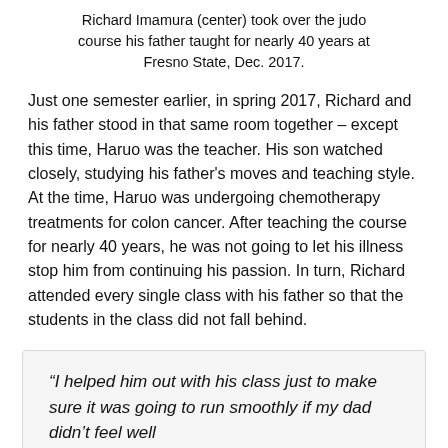Richard Imamura (center) took over the judo course his father taught for nearly 40 years at Fresno State, Dec. 2017.
Just one semester earlier, in spring 2017, Richard and his father stood in that same room together – except this time, Haruo was the teacher. His son watched closely, studying his father's moves and teaching style. At the time, Haruo was undergoing chemotherapy treatments for colon cancer. After teaching the course for nearly 40 years, he was not going to let his illness stop him from continuing his passion. In turn, Richard attended every single class with his father so that the students in the class did not fall behind.
“I helped him out with his class just to make sure it was going to run smoothly if my dad didn’t feel well